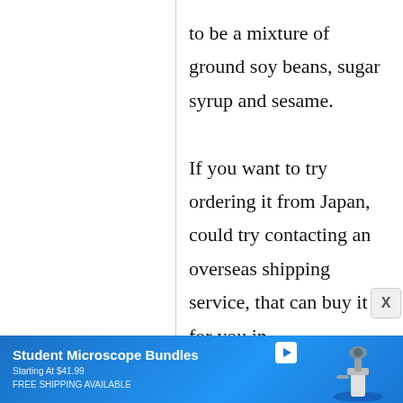to be a mixture of ground soy beans, sugar syrup and sesame.

If you want to try ordering it from Japan, could try contacting an overseas shipping service, that can buy it for you in
[Figure (screenshot): Blue advertisement banner for Student Microscope Bundles, Starting At $41.99, FREE SHIPPING AVAILABLE, with microscope image on right and play button icon.]